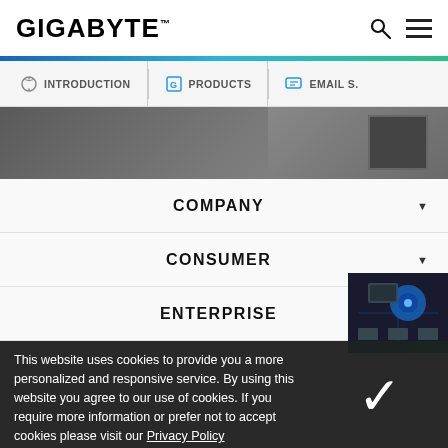GIGABYTE™
[Figure (screenshot): Navigation tabs: INTRODUCTION, PRODUCTS, EMAIL S... on a light gray background]
[Figure (photo): Hero banner image showing a person at a computer/monitor, dark background]
COMPANY
CONSUMER
ENTERPRISE
This website uses cookies to provide you a more personalized and responsive service. By using this website you agree to our use of cookies. If you require more information or prefer not to accept cookies please visit our Privacy Policy
SERVICE / SUPPORT